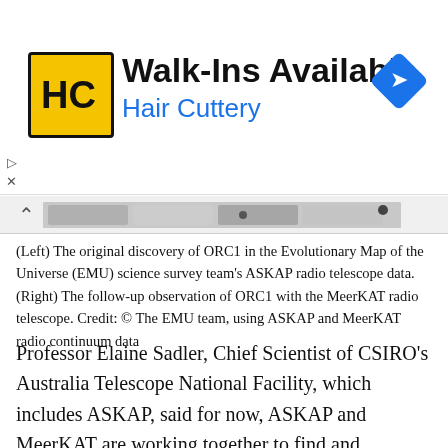[Figure (other): Advertisement banner for Hair Cuttery salon with logo, 'Walk-Ins Available' text, and navigation icon]
[Figure (photo): Scrollable image strip showing ORC1 radio telescope data images]
(Left) The original discovery of ORC1 in the Evolutionary Map of the Universe (EMU) science survey team's ASKAP radio telescope data. (Right) The follow-up observation of ORC1 with the MeerKAT radio telescope. Credit: © The EMU team, using ASKAP and MeerKAT radio continuum data
Professor Elaine Sadler, Chief Scientist of CSIRO's Australia Telescope National Facility, which includes ASKAP, said for now, ASKAP and MeerKAT are working together to find and describe these objects quickly and efficiently.
“Nearly all astronomy projects are made better by international collaboration – both with the teams of people involved and the technology available,”